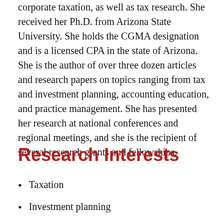corporate taxation, as well as tax research. She received her Ph.D. from Arizona State University. She holds the CGMA designation and is a licensed CPA in the state of Arizona. She is the author of over three dozen articles and research papers on topics ranging from tax and investment planning, accounting education, and practice management. She has presented her research at national conferences and regional meetings, and she is the recipient of several research grants and fellowships.
Research Interests
Taxation
Investment planning